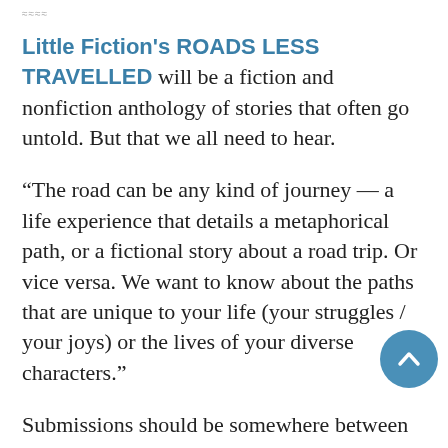≈≈≈≈
Little Fiction's ROADS LESS TRAVELLED will be a fiction and nonfiction anthology of stories that often go untold. But that we all need to hear.
“The road can be any kind of journey — a life experience that details a metaphorical path, or a fictional story about a road trip. Or vice versa. We want to know about the paths that are unique to your life (your struggles / your joys) or the lives of your diverse characters.”
Submissions should be somewhere between 1,500 – 2,500 words, previously unpublished, and can be sent to anthology@littlefiction.com.